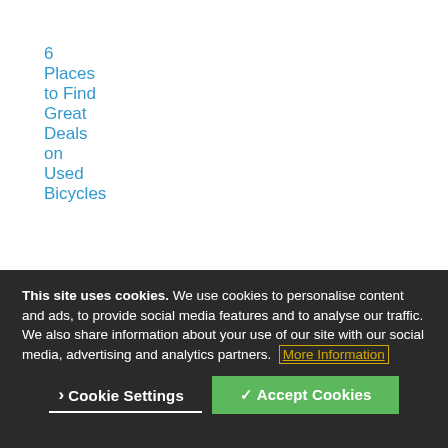6 Places to Find Great Deals on Used Bicycles
The Best Road Bikes Under $1200
This site uses cookies. We use cookies to personalise content and ads, to provide social media features and to analyse our traffic. We also share information about your use of our site with our social media, advertising and analytics partners. More Information